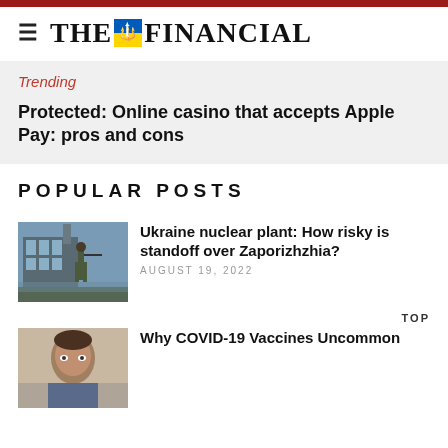THE FINANCIAL
Trending
Protected: Online casino that accepts Apple Pay: pros and cons
POPULAR POSTS
[Figure (photo): A soldier standing in front of the Zaporizhzhia nuclear power plant]
Ukraine nuclear plant: How risky is standoff over Zaporizhzhia?
AUGUST 19, 2022
TOP
[Figure (photo): A person related to COVID-19 vaccines story]
Why COVID-19 Vaccines Uncommon